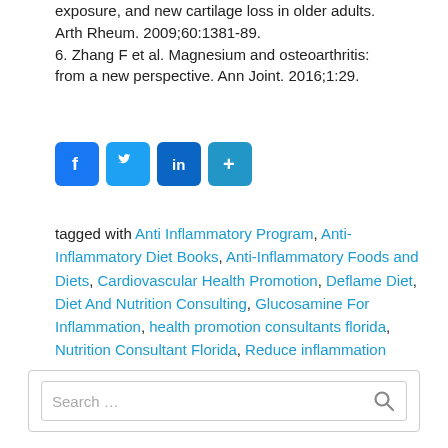exposure, and new cartilage loss in older adults. Arth Rheum. 2009;60:1381-89.
6. Zhang F et al. Magnesium and osteoarthritis: from a new perspective. Ann Joint. 2016;1:29.
[Figure (other): Social media sharing icons: Facebook, Twitter, LinkedIn, and a plus/share button]
tagged with Anti Inflammatory Program, Anti-Inflammatory Diet Books, Anti-Inflammatory Foods and Diets, Cardiovascular Health Promotion, Deflame Diet, Diet And Nutrition Consulting, Glucosamine For Inflammation, health promotion consultants florida, Nutrition Consultant Florida, Reduce inflammation
[Figure (other): Search box with placeholder text 'Search ...' and a search icon button]